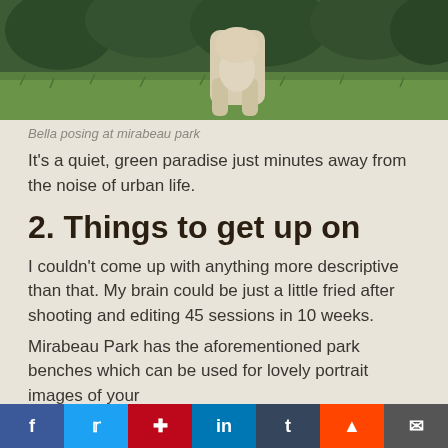[Figure (photo): A white/cream colored dog (Bella) posing on green grass at Mirabeau Park, photo cropped showing lower body and grass]
Bella posing at mirabeau park
It's a quiet, green paradise just minutes away from the noise of urban life.
2. Things to get up on
I couldn't come up with anything more descriptive than that. My brain could be just a little fried after shooting and editing 45 sessions in 10 weeks.
Mirabeau Park has the aforementioned park benches which can be used for lovely portrait images of your
f  t  p  in  t  reddit  mail